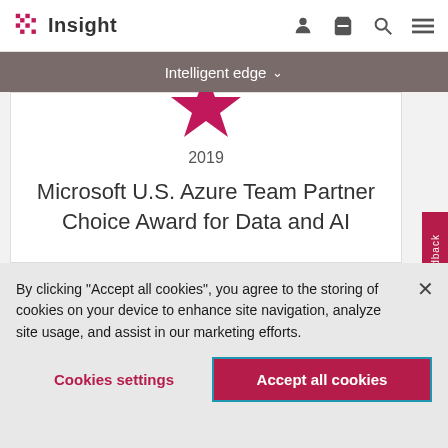Insight
Intelligent edge
[Figure (illustration): Pink/crimson star icon centered above award card]
2019
Microsoft U.S. Azure Team Partner Choice Award for Data and AI
Feedback
By clicking “Accept all cookies”, you agree to the storing of cookies on your device to enhance site navigation, analyze site usage, and assist in our marketing efforts.
Cookies settings
Accept all cookies